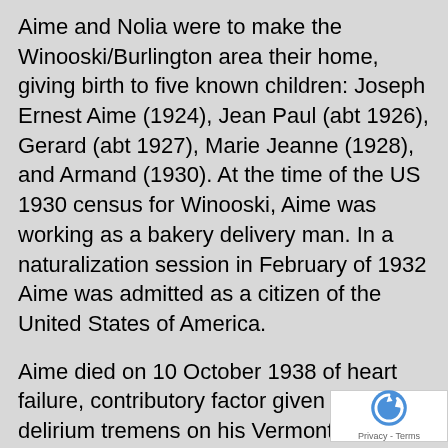Aime and Nolia were to make the Winooski/Burlington area their home, giving birth to five known children: Joseph Ernest Aime (1924), Jean Paul (abt 1926), Gerard (abt 1927), Marie Jeanne (1928), and Armand (1930). At the time of the US 1930 census for Winooski, Aime was working as a bakery delivery man. In a naturalization session in February of 1932 Aime was admitted as a citizen of the United States of America.
Aime died on 10 October 1938 of heart failure, contributory factor given as delirium tremens on his Vermont death record. At the time of his death the family was living in Burlington where Aime had been working as a salesman. Aime was predeceased by his brother Joseph in 1921, his father in 1926, and mother in 1931. All are interred in the Lake of the Woods Cemetery in Kenora. At the time of his death he was survived by his wife No the children, brother Emile (Joe) Baribeau, a renow motorcycle racer of Winnipeg, and sister Rose Baribeau or